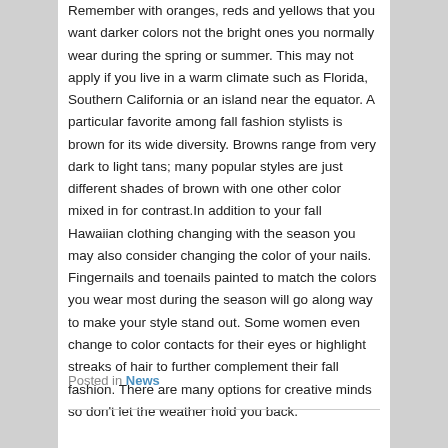Remember with oranges, reds and yellows that you want darker colors not the bright ones you normally wear during the spring or summer. This may not apply if you live in a warm climate such as Florida, Southern California or an island near the equator. A particular favorite among fall fashion stylists is brown for its wide diversity. Browns range from very dark to light tans; many popular styles are just different shades of brown with one other color mixed in for contrast.In addition to your fall Hawaiian clothing changing with the season you may also consider changing the color of your nails. Fingernails and toenails painted to match the colors you wear most during the season will go along way to make your style stand out. Some women even change to color contacts for their eyes or highlight streaks of hair to further complement their fall fashion. There are many options for creative minds so don't let the weather hold you back.
Posted in News